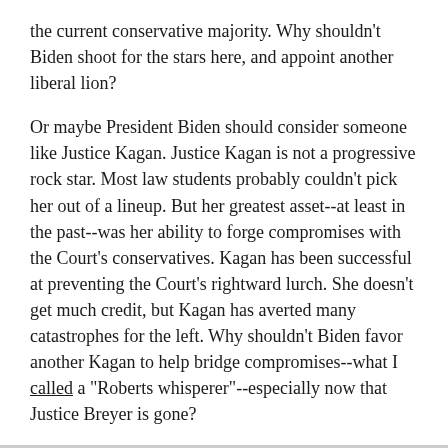the current conservative majority. Why shouldn't Biden shoot for the stars here, and appoint another liberal lion?
Or maybe President Biden should consider someone like Justice Kagan. Justice Kagan is not a progressive rock star. Most law students probably couldn't pick her out of a lineup. But her greatest asset--at least in the past--was her ability to forge compromises with the Court's conservatives. Kagan has been successful at preventing the Court's rightward lurch. She doesn't get much credit, but Kagan has averted many catastrophes for the left. Why shouldn't Biden favor another Kagan to help bridge compromises--what I called a "Roberts whisperer"--especially now that Justice Breyer is gone?
Or maybe President Biden should appoint someone in the mold of Justice Scalia? Aziz Huq makes this argument at Politico: